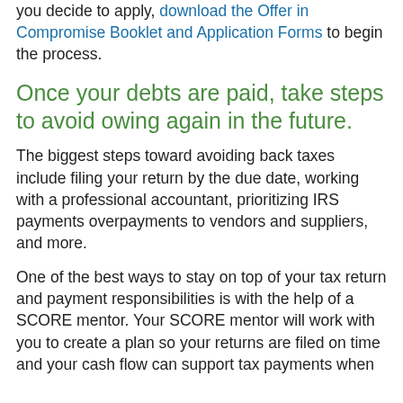you decide to apply, download the Offer in Compromise Booklet and Application Forms to begin the process.
Once your debts are paid, take steps to avoid owing again in the future.
The biggest steps toward avoiding back taxes include filing your return by the due date, working with a professional accountant, prioritizing IRS payments overpayments to vendors and suppliers, and more.
One of the best ways to stay on top of your tax return and payment responsibilities is with the help of a SCORE mentor. Your SCORE mentor will work with you to create a plan so your returns are filed on time and your cash flow can support tax payments when